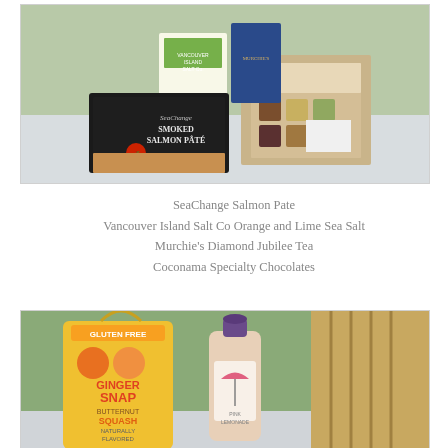[Figure (photo): Photo of SeaChange Smoked Salmon Pate box, Vancouver Island Salt Co packaging, Murchie's tea tin, and Coconama specialty chocolates box arranged on a light surface outdoors.]
SeaChange Salmon Pate
Vancouver Island Salt Co Orange and Lime Sea Salt
Murchie's Diamond Jubilee Tea
Coconama Specialty Chocolates
[Figure (photo): Photo of a Ginger Snap Butternut Squash soup package (gluten free, naturally flavored) and a bottle of pink lemonade or similar beverage with a pink umbrella label, on a light surface with greenery in the background.]